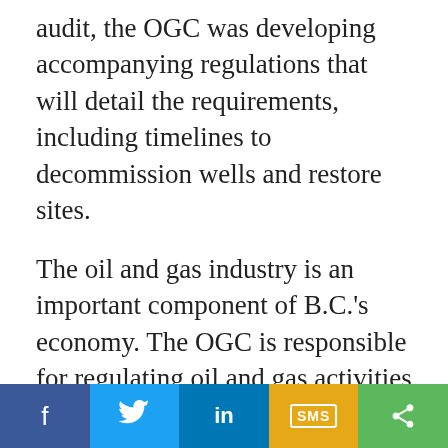audit, the OGC was developing accompanying regulations that will detail the requirements, including timelines to decommission wells and restore sites.
The oil and gas industry is an important component of B.C.'s economy. The OGC is responsible for regulating oil and gas activities to protect public safety and the environment.
An inactive well is decommissioned by permanently sealing it with cement. To restore a site means remediating any